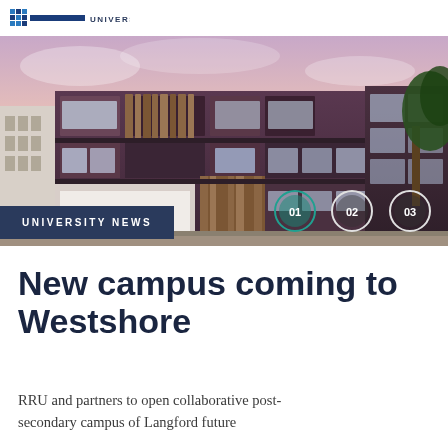UNIVERSITY
[Figure (photo): Architectural rendering of a modern multi-story university building with dark brick/panel facade, large windows, wood accent elements, pink-purple dusk sky background, trees on right. Numbered circle navigation buttons 01, 02, 03 overlaid at bottom right of image.]
UNIVERSITY NEWS
New campus coming to Westshore
RRU and partners to open collaborative post-secondary campus of Langford future